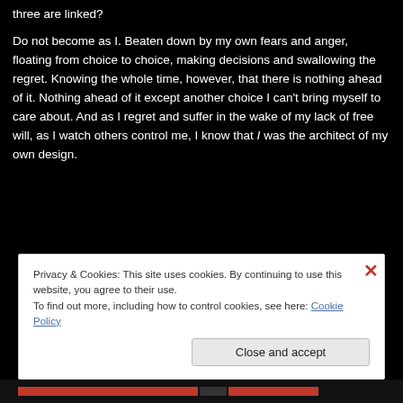three are linked?
Do not become as I. Beaten down by my own fears and anger, floating from choice to choice, making decisions and swallowing the regret. Knowing the whole time, however, that there is nothing ahead of it. Nothing ahead of it except another choice I can't bring myself to care about. And as I regret and suffer in the wake of my lack of free will, as I watch others control me, I know that I was the architect of my own design.
Privacy & Cookies: This site uses cookies. By continuing to use this website, you agree to their use. To find out more, including how to control cookies, see here: Cookie Policy